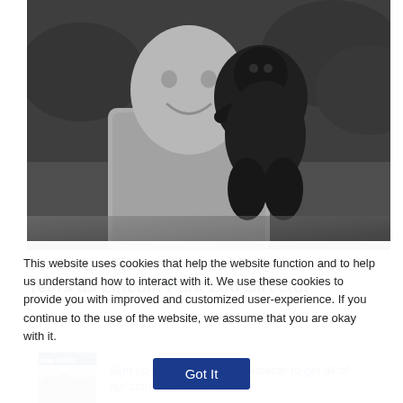[Figure (photo): Black and white photograph of a smiling older man holding a baby gorilla on his shoulder, with leafy background.]
Dr. Lester Fisher Turns 100, Reflects on 30 Years as Lincoln Park Zoo Director
[Figure (screenshot): WTTW News newsletter thumbnail showing a crowd scene.]
Sign up for our morning newsletter to get all of our stories delivered to your
This website uses cookies that help the website function and to help us understand how to interact with it. We use these cookies to provide you with improved and customized user-experience. If you continue to the use of the website, we assume that you are okay with it.